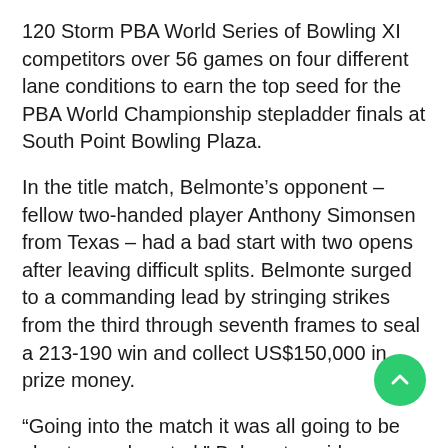120 Storm PBA World Series of Bowling XI competitors over 56 games on four different lane conditions to earn the top seed for the PBA World Championship stepladder finals at South Point Bowling Plaza.
In the title match, Belmonte's opponent – fellow two-handed player Anthony Simonsen from Texas – had a bad start with two opens after leaving difficult splits. Belmonte surged to a commanding lead by stringing strikes from the third through seventh frames to seal a 213-190 win and collect US$150,000 in prize money.
“Going into the match it was all going to be about speed control,” Belmonte said. “Keeping it slow and getting a good consistent release was the key. Anytime you can keep striking, keep a big lead and your opponent believes he has to strike out to win, that’s when you can really keep the pressure on.”
[Figure (other): Green circular scroll-to-top button with upward chevron arrow icon]